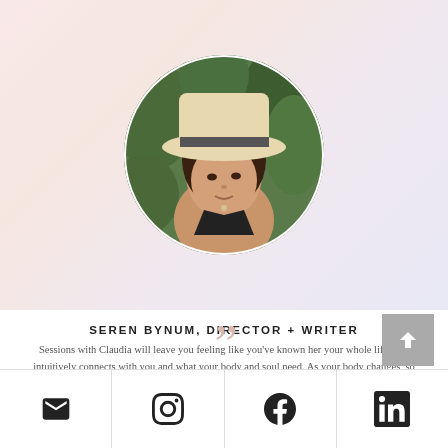[Figure (photo): Circular portrait photo of a woman wearing a wide-brim hat, with dark hair, against a background of green tropical leaves]
SEREN BYNUM, DIRECTOR + WRITER
Sessions with Claudia will leave you feeling like you've known her your whole life. She intuitively connects with you and what your body and soul need. As your body changes, so does your mind and spirit.
Social icons: email, instagram, facebook, linkedin